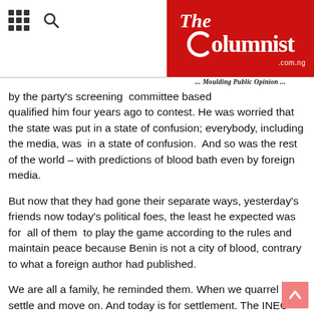The Columnist .com.ng ... Moulding Public Opinion ...
by the party's screening  committee based qualified him four years ago to contest. He was worried that the state was put in a state of confusion; everybody, including the media, was  in a state of confusion.  And so was the rest of the world – with predictions of blood bath even by foreign media.
But now that they had gone their separate ways, yesterday's friends now today's political foes, the least he expected was for  all of them  to play the game according to the rules and maintain peace because Benin is not a city of blood, contrary to what a foreign author had published.
We are all a family, he reminded them. When we quarrel we settle and move on. And today is for settlement. The INEC chairman, Professor Mahmud Yakubu, worried by the threat to peace in the state, had come to solicit his support and he gave his word. We must keep our words.
The monarch now singled out Phillip Shaibu, the deputy governor, for